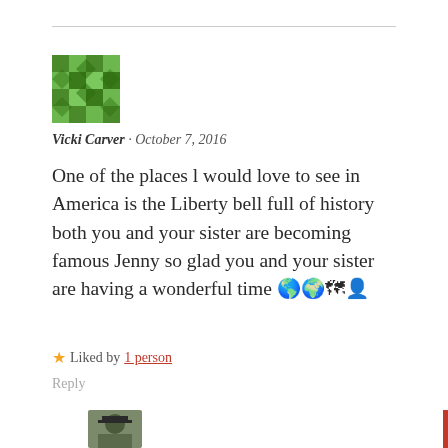[Figure (illustration): Green geometric mosaic avatar for user Vicki Carver]
Vicki Carver · October 7, 2016
One of the places l would love to see in America is the Liberty bell full of history both you and your sister are becoming famous Jenny so glad you and your sister are having a wonderful time 🌎🌍🗺👤
★ Liked by 1 person
Reply
[Figure (photo): Partial avatar photo of next commenter at bottom of page]